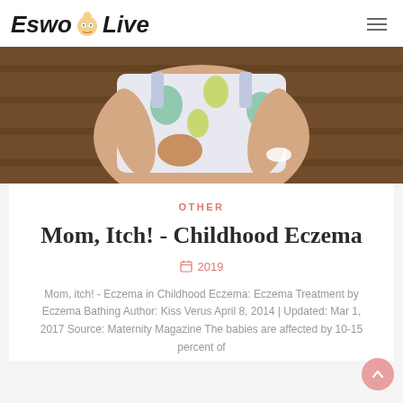EswoLive
[Figure (photo): Child in floral top scratching arm, sitting on wooden bench, with white cream/ointment visible on elbow area]
OTHER
Mom, Itch! - Childhood Eczema
2019
Mom, itch! - Eczema in Childhood Eczema: Eczema Treatment by Eczema Bathing Author: Kiss Verus April 8, 2014 | Updated: Mar 1, 2017 Source: Maternity Magazine The babies are affected by 10-15 percent of